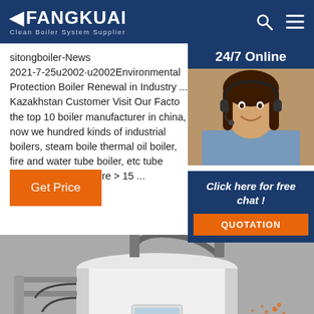FANGKUAI Clean Boiler System Supplier
sitongboiler-News 2021-7-25u2002·u2002Environmental Protection Boiler Renewal in Industry ... Kazakhstan Customer Visit Our Factory the top 10 boiler manufacturer in china, now we hundred kinds of industrial boilers, steam boile thermal oil boiler, fire and water tube boiler, etc tube boiler, etc. Learn more > 15 ...
[Figure (photo): 24/7 Online customer service agent - woman with headset smiling]
24/7 Online
Click here for free chat !
QUOTATION
Get Price
[Figure (photo): Industrial boiler equipment installed in a facility - large white cylindrical boiler with pipes and control panel]
TOP